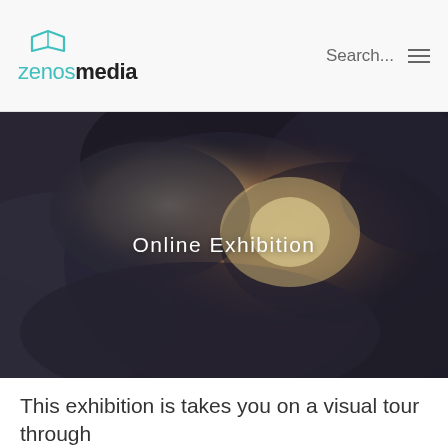zenosmedia — Search... [hamburger menu]
[Figure (photo): Dramatic sky with dark storm clouds and bright light breaking through, with the text 'Online Exhibition' overlaid in white in the center]
This exhibition is takes you on a visual tour through